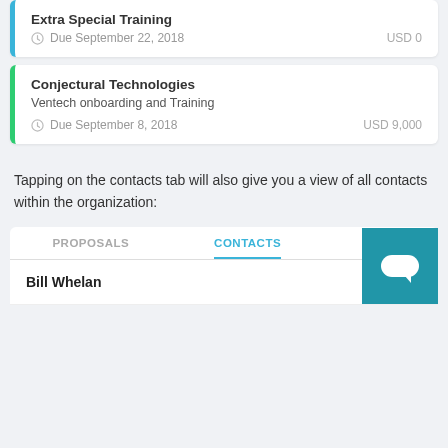Extra Special Training
Due September 22, 2018   USD 0
Conjectural Technologies
Ventech onboarding and Training
Due September 8, 2018   USD 9,000
Tapping on the contacts tab will also give you a view of all contacts within the organization:
PROPOSALS   CONTACTS   INFO
Bill Whelan